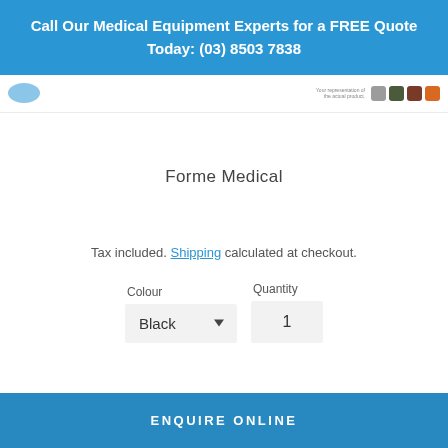Call Our Medical Equipment Experts for a FREE Quote Today: (03) 8503 7838
[Figure (screenshot): Partial product image with color swatches (taupe, dark green, brown, orange) and small text 'Your representation of the actual product']
Forme Medical
Tax included. Shipping calculated at checkout.
Colour: Black  Quantity: 1
ENQUIRE ONLINE